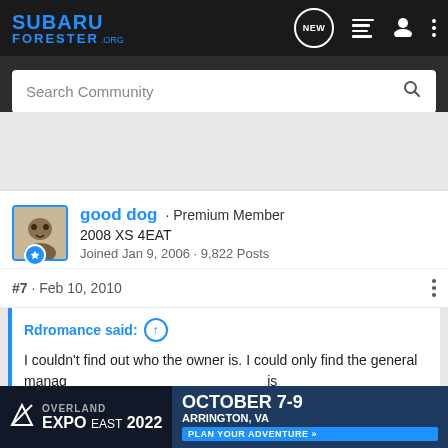SUBARU FORESTER.ORG — Navigation bar with Search Community, NEW, list, user, and menu icons
good dog · Premium Member
2008 XS 4EAT
Joined Jan 9, 2006 · 9,822 Posts
#7 · Feb 10, 2010
Rdromance said: ↑
I couldn't find out who the owner is. I could only find the general manager's name. From what I found, it is family
[Figure (screenshot): Overland Expo East 2022 advertisement banner: October 7-9, Arrington, VA — Plan Your Adventure]